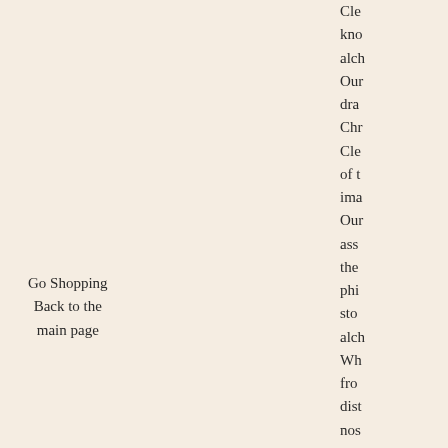Go Shopping
Back to the main page
Cle
kno
alch
Our
dra
Chr
Cle
of t
ima
Our
ass
the
phi
sto
alch
Wh
fro
dist
nos
can
fore
a di
han
Tau
ver